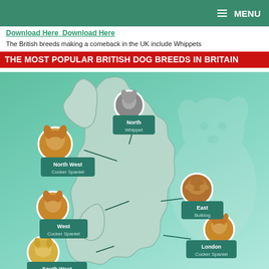MENU
Download Here  Download Here
The British breeds making a comeback in the UK include Whippets
THE MOST POPULAR BRITISH DOG BREEDS IN BRITAIN
[Figure (map): Infographic map of Britain showing the most popular British dog breeds by region. North West: Cocker Spaniel, North: Whippet, West: Cocker Spaniel, East: Bulldog, London: Cocker Spaniel, South West: Labrador Retriever. Each region is labeled with a teal card and a circular dog photo. A large faded dog (terrier/Jack Russell type) appears in the background on the right side.]